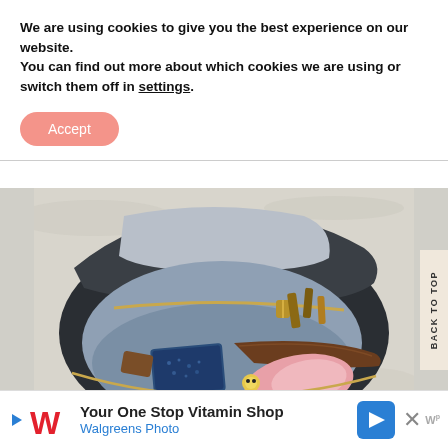We are using cookies to give you the best experience on our website.
You can find out more about which cookies we are using or switch them off in settings.
Accept
[Figure (photo): Open handbag/purse viewed from above on a white textured surface, showing contents including cosmetics, wallet, and accessories in a blue-grey fabric interior with gold zipper accents]
BACK TO TOP
Your One Stop Vitamin Shop
Walgreens Photo